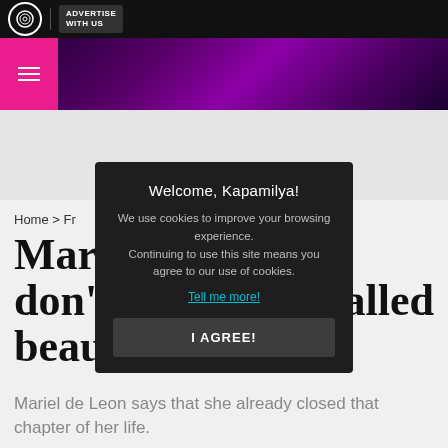ADVERTISE WITH US
[Figure (screenshot): Purple gradient website header with hamburger menu and ABS-CBN logo]
Home > Fr...
Mari... don't... alled beau...
Mariel de Leon says that she already closed that chapter of her life.
[Figure (screenshot): Cookie consent modal dialog: Welcome, Kapamilya! We use cookies to improve your browsing experience. Continuing to use this site means you agree to our use of cookies. Tell me more! I AGREE!]